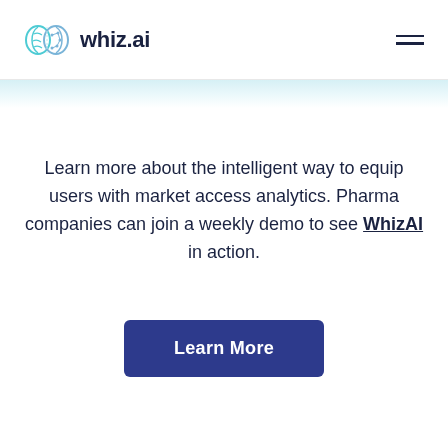whiz.ai
Learn more about the intelligent way to equip users with market access analytics. Pharma companies can join a weekly demo to see WhizAI in action.
Learn More